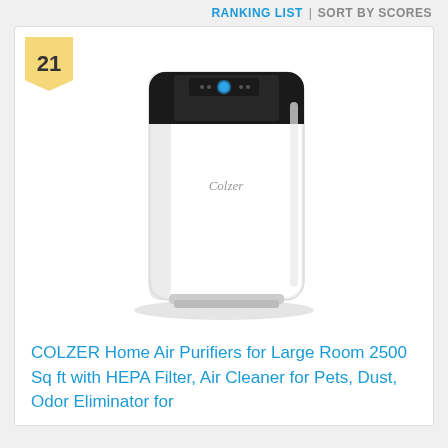RANKING LIST | SORT BY SCORES
[Figure (photo): White Colzer air purifier with black top panel and control display. Tall rectangular unit with rounded edges, branded 'Colzer' on the front.]
COLZER Home Air Purifiers for Large Room 2500 Sq ft with HEPA Filter, Air Cleaner for Pets, Dust, Odor Eliminator for